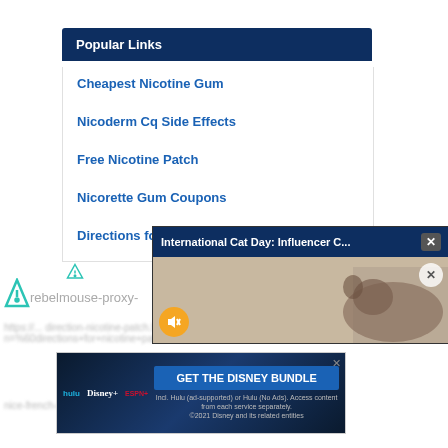Popular Links
Cheapest Nicotine Gum
Nicoderm Cq Side Effects
Free Nicotine Patch
Nicorette Gum Coupons
Directions for Nicotine Patch
[Figure (screenshot): Video popup overlay showing 'International Cat Day: Influencer C...' with a cat thumbnail, mute button, and close controls]
rebelmouse-proxy-
https://... n=%... nice-french-riviera-...
[Figure (screenshot): Disney bundle advertisement showing Hulu, Disney+, ESPN+ logos with 'GET THE DISNEY BUNDLE' button and fine print about Hulu ad-supported service]